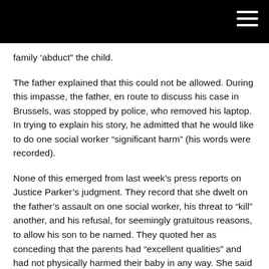family “abduct” the child.
The father explained that this could not be allowed. During this impasse, the father, en route to discuss his case in Brussels, was stopped by police, who removed his laptop. In trying to explain his story, he admitted that he would like to do one social worker “significant harm” (his words were recorded).
None of this emerged from last week’s press reports on Justice Parker’s judgment. They record that she dwelt on the father’s assault on one social worker, his threat to “kill” another, and his refusal, for seemingly gratuitous reasons, to allow his son to be named. They quoted her as conceding that the parents had “excellent qualities” and had not physically harmed their baby in any way. She said that they obviously “loved each of their sons from the bottom of their